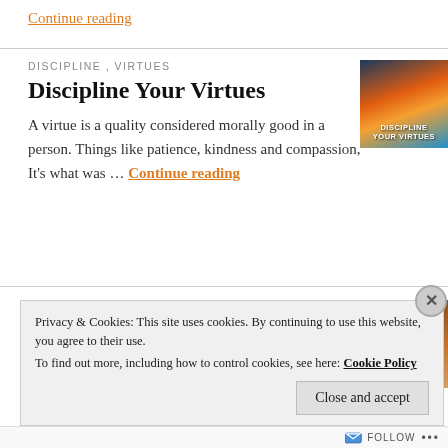Continue reading
DISCIPLINE , VIRTUES
Discipline Your Virtues
[Figure (photo): Book cover or image for 'Discipline Your Virtues' showing a sunset sky over water with text overlay]
A virtue is a quality considered morally good in a person. Things like patience, kindness and compassion, It's what was … Continue reading
PERSONAL GROWTH
A Work in Progress
[Figure (photo): Image for 'A Work in Progress' showing the word WORK on a brick wall with a caution sign]
Privacy & Cookies: This site uses cookies. By continuing to use this website, you agree to their use. To find out more, including how to control cookies, see here: Cookie Policy
Close and accept
Follow ...